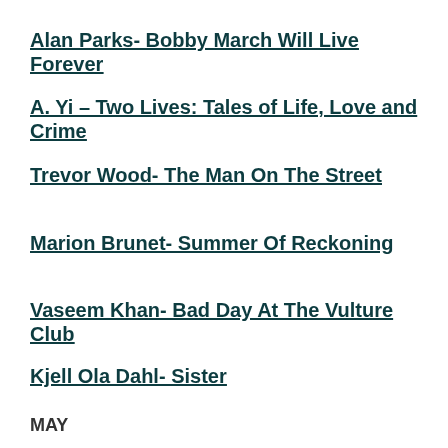Alan Parks- Bobby March Will Live Forever
A. Yi – Two Lives: Tales of Life, Love and Crime
Trevor Wood- The Man On The Street
Marion Brunet- Summer Of Reckoning
Vaseem Khan- Bad Day At The Vulture Club
Kjell Ola Dahl- Sister
MAY